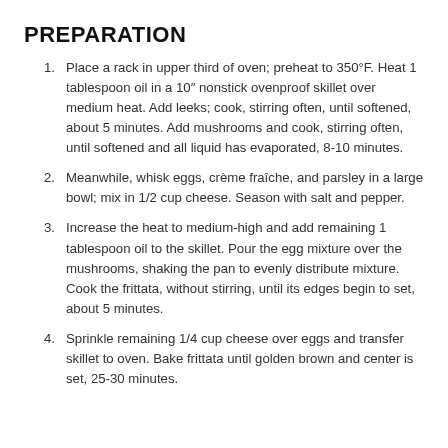PREPARATION
Place a rack in upper third of oven; preheat to 350°F. Heat 1 tablespoon oil in a 10″ nonstick ovenproof skillet over medium heat. Add leeks; cook, stirring often, until softened, about 5 minutes. Add mushrooms and cook, stirring often, until softened and all liquid has evaporated, 8-10 minutes.
Meanwhile, whisk eggs, crème fraîche, and parsley in a large bowl; mix in 1/2 cup cheese. Season with salt and pepper.
Increase the heat to medium-high and add remaining 1 tablespoon oil to the skillet. Pour the egg mixture over the mushrooms, shaking the pan to evenly distribute mixture. Cook the frittata, without stirring, until its edges begin to set, about 5 minutes.
Sprinkle remaining 1/4 cup cheese over eggs and transfer skillet to oven. Bake frittata until golden brown and center is set, 25-30 minutes.